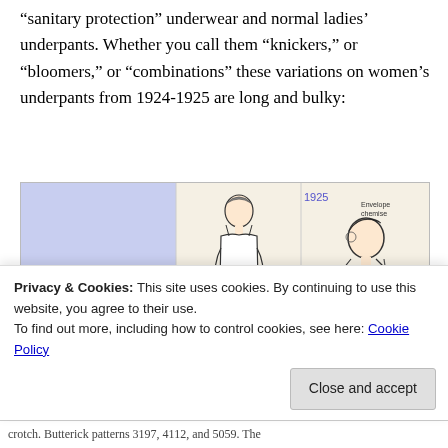“sanitary protection” underwear and normal ladies’ underpants. Whether you call them “knickers,” or “bloomers,” or “combinations” these variations on women’s underpants from 1924-1925 are long and bulky:
[Figure (illustration): Vintage fashion illustrations from 1924-1925 showing women's undergarments. Left panel: blue-tinted illustration labeled '1924' showing a seated woman from behind. Center panel: standing woman in slip labeled '1925' with caption 'Combination 4112'. Right panel: large figure labeled '1924' with text 'Envelope chemise 5059'.]
Privacy & Cookies: This site uses cookies. By continuing to use this website, you agree to their use.
To find out more, including how to control cookies, see here: Cookie Policy
Close and accept
crotch. Butterick patterns 3197, 4112, and 5059. The